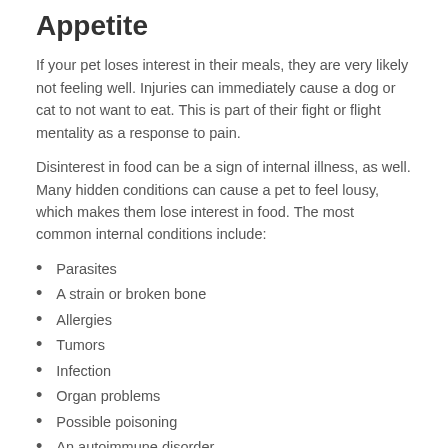Appetite
If your pet loses interest in their meals, they are very likely not feeling well. Injuries can immediately cause a dog or cat to not want to eat. This is part of their fight or flight mentality as a response to pain.
Disinterest in food can be a sign of internal illness, as well. Many hidden conditions can cause a pet to feel lousy, which makes them lose interest in food. The most common internal conditions include:
Parasites
A strain or broken bone
Allergies
Tumors
Infection
Organ problems
Possible poisoning
An autoimmune disorder